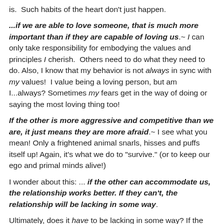is.  Such habits of the heart don't just happen.
...if we are able to love someone, that is much more important than if they are capable of loving us.~ I can only take responsibility for embodying the values and principles I cherish.  Others need to do what they need to do. Also, I know that my behavior is not always in sync with my values!  I value being a loving person, but am I...always? Sometimes my fears get in the way of doing or saying the most loving thing too!
If the other is more aggressive and competitive than we are, it just means they are more afraid.~ I see what you mean! Only a frightened animal snarls, hisses and puffs itself up! Again, it's what we do to "survive." (or to keep our ego and primal minds alive!)
I wonder about this: ... if the other can accommodate us, the relationship works better. If they can't, the relationship will be lacking in some way.
Ultimately, does it have to be lacking in some way? If the